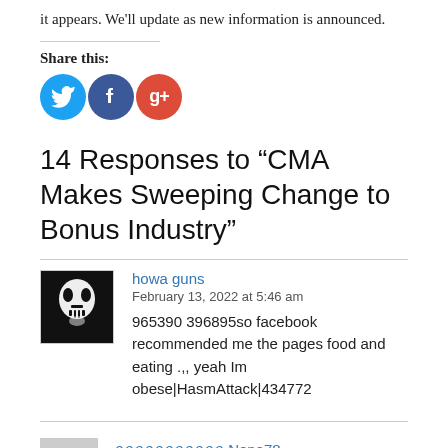it appears. We'll update as new information is announced.
Share this:
[Figure (other): Social sharing buttons: Twitter (blue circle), Facebook (dark blue circle), Google+ (red circle)]
14 Responses to “CMA Makes Sweeping Change to Bonus Industry”
howa guns
February 13, 2022 at 5:46 am
965390 396895so facebook recommended me the pages food and eating .,, yeah Im obese|HasmAttack|434772
ภภภภภภภภภภภ Nona78
February 13, 2022 at 6:42 am